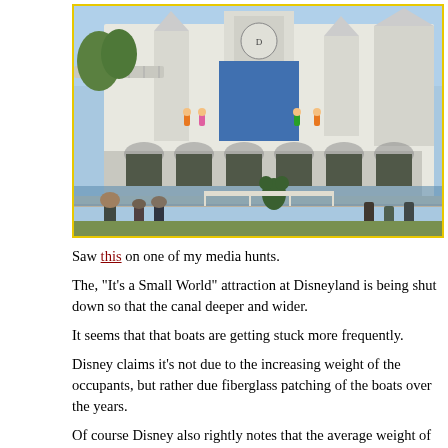[Figure (photo): Photo of the 'It's a Small World' attraction facade at Disneyland, showing a white ornate building with colorful decorations, figurines on ledges, arched entrances at water level, and visitors in the foreground.]
Saw this on one of my media hunts.
The, "It's a Small World" attraction at Disneyland is being shut down so that the canal deeper and wider.
It seems that that boats are getting stuck more frequently.
Disney claims it's not due to the increasing weight of the occupants, but rather fiberglass patching of the boats over the years.
Of course Disney also rightly notes that the average weight of an adult has gone 25lbs in the 41 years since this ride opened when the average man weighed 175 average woman 135lbs.